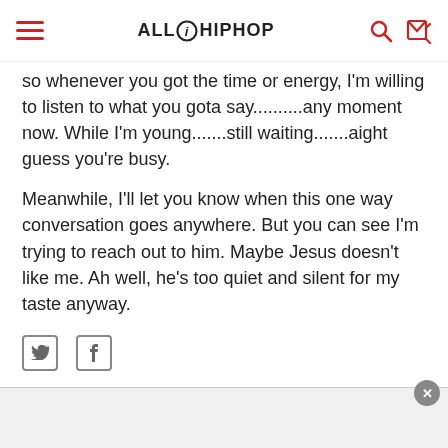ALL HIP HOP
so whenever you got the time or energy, I'm willing to listen to what you gota say..........any moment now. While I'm young.......still waiting.......aight guess you're busy.
Meanwhile, I'll let you know when this one way conversation goes anywhere. But you can see I'm trying to reach out to him. Maybe Jesus doesn't like me. Ah well, he's too quiet and silent for my taste anyway.
[Figure (other): Social share icons: Twitter and Facebook]
imgoingtoheavenru?  Jerusalem  Members  Posts: 291